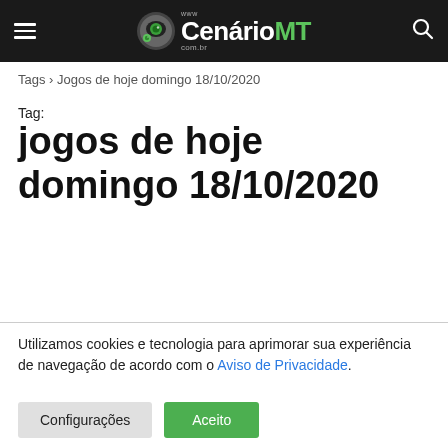[Figure (logo): CenárioMT website logo with dark navigation bar, hamburger menu on left, logo in center, search icon on right]
Tags › Jogos de hoje domingo 18/10/2020
Tag:
jogos de hoje domingo 18/10/2020
Utilizamos cookies e tecnologia para aprimorar sua experiência de navegação de acordo com o Aviso de Privacidade.
Configurações | Aceito